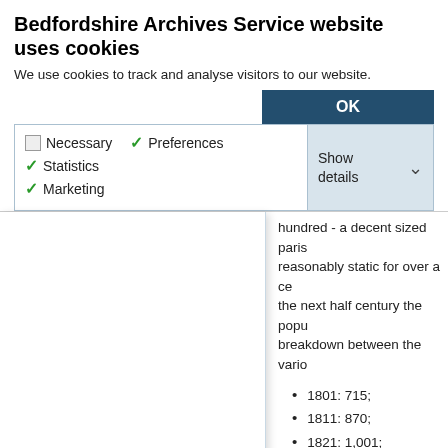Bedfordshire Archives Service website uses cookies
We use cookies to track and analyse visitors to our website.
OK
Necessary   Preferences   Statistics   Marketing   Show details
hundred - a decent sized paris reasonably static for over a ce the next half century the popu breakdown between the vario
1801: 715;
1811: 870;
1821: 1,001;
1831: 1,106;
1841: 1,280;
1851: 1,364;
1861: 1,366;
1871: 1,428;
1881: 1,412;
1891: 1,408;
1901: 1,348;
1911: 1,292;
1921: 1,332;
1931: 1,228;